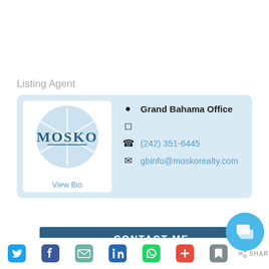Listing Agent
[Figure (logo): Mosko Realty logo — circular light blue background with white starburst, text 'MOSKO' in dark blue serif font with underline]
Grand Bahama Office
(242) 351-6445
gbinfo@moskorealty.com
View Bio
CONTACT ME
First Name *